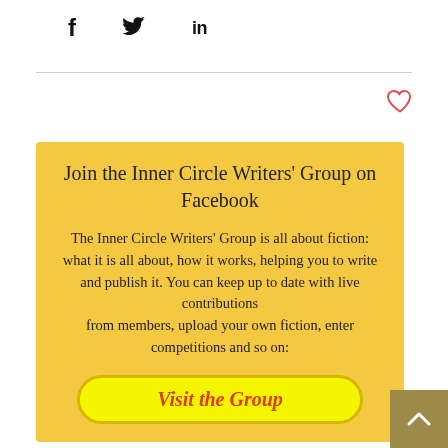[Figure (infographic): Social media share icons: f (Facebook), bird (Twitter), in (LinkedIn)]
[Figure (infographic): Heart/like icon outline in red/coral color]
Join the Inner Circle Writers' Group on Facebook
The Inner Circle Writers' Group is all about fiction: what it is all about, how it works, helping you to write and publish it. You can keep up to date with live contributions from members, upload your own fiction, enter competitions and so on:
[Figure (infographic): Yellow button with red italic text reading 'Visit the Group']